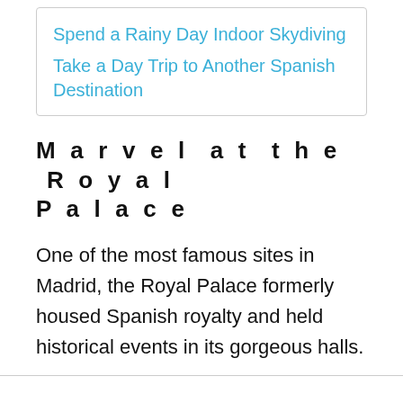Spend a Rainy Day Indoor Skydiving
Take a Day Trip to Another Spanish Destination
Marvel at the Royal Palace
One of the most famous sites in Madrid, the Royal Palace formerly housed Spanish royalty and held historical events in its gorgeous halls.